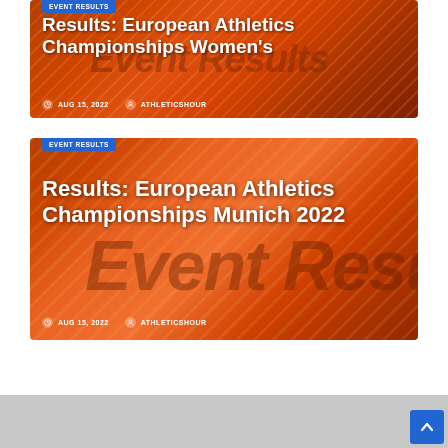[Figure (screenshot): Card image for 'Results: European Athletics Championships Women's' article with orange-red gradient background and 'Event Results' badge. Date: AUG 15, 2022. Author: ATHLETICSHOUR.]
[Figure (screenshot): Card image for 'Results: European Athletics Championships Munich 2022' article with orange-red gradient background and 'Event Results' badge. Date: AUG 15, 2022. Author: ATHLETICSHOUR.]